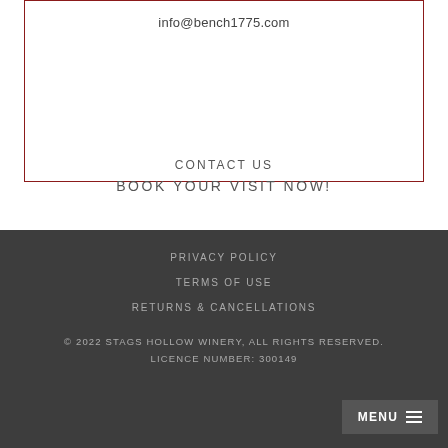info@bench1775.com
CONTACT US
BOOK YOUR VISIT NOW!
PRIVACY POLICY
TERMS OF USE
RETURNS & CANCELLATIONS
© 2022 STAGS HOLLOW WINERY, ALL RIGHTS RESERVED.
LICENCE NUMBER: 300149